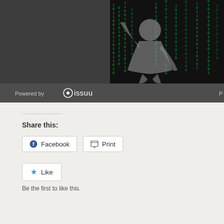[Figure (illustration): Issuu embedded document viewer showing a dark matrix-themed image with a muscular figure surrounded by falling green binary code on a black background, with a 'Powered by issuu' bar at the bottom of the embed.]
Share this:
Facebook
Print
Like
Be the first to like this.